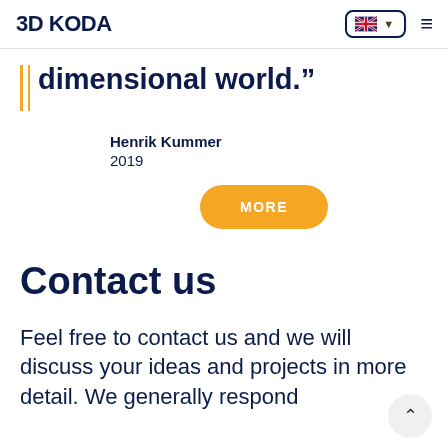3D KODA — navigation bar with logo, language selector (English/UK flag), and hamburger menu
dimensional world.”
Henrik Kummer
2019
MORE
Contact us
Feel free to contact us and we will discuss your ideas and projects in more detail. We generally respond